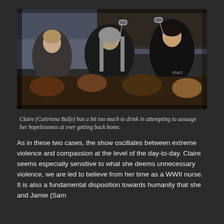[Figure (photo): Three people sitting at a table raising wine glasses in a toast. A man with long gray hair in the center, a woman on the left, and a dark-haired woman on the right in a black outfit. Scene appears to be from a TV show (Outlander).]
Claire (Caitriona Balfe) has a bit too much to drink in attempting to assuage her hopelessness at ever getting back home.
As in these two cases, the show oscillates between extreme violence and compassion at the level of the day-to-day. Claire seems especially sensitive to what she deems unnecessary violence, we are led to believe from her time as a WWII nurse. It is also a fundamental disposition towards humanity that she and Jamie (Sam